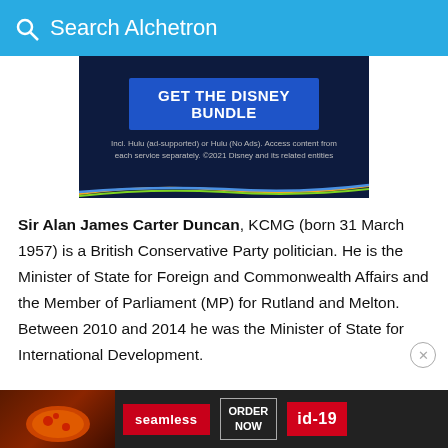Search Alchetron
[Figure (screenshot): Disney Bundle advertisement banner on dark navy background with blue button saying GET THE DISNEY BUNDLE and small disclaimer text, with colorful lines at the bottom]
Sir Alan James Carter Duncan, KCMG (born 31 March 1957) is a British Conservative Party politician. He is the Minister of State for Foreign and Commonwealth Affairs and the Member of Parliament (MP) for Rutland and Melton. Between 2010 and 2014 he was the Minister of State for International Development.
[Figure (screenshot): Seamless food delivery advertisement at the bottom of the page showing food image, seamless logo, ORDER NOW button, and id-19 tag]